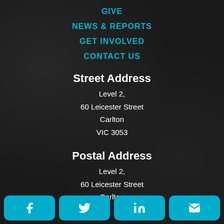GIVE
NEWS & REPORTS
GET INVOLVED
CONTACT US
Street Address
Level 2,
60 Leicester Street
Carlton
VIC 3053
Postal Address
Level 2,
60 Leicester Street
Carlton
[Figure (other): Social share buttons row: Facebook, Twitter, LinkedIn, Email]